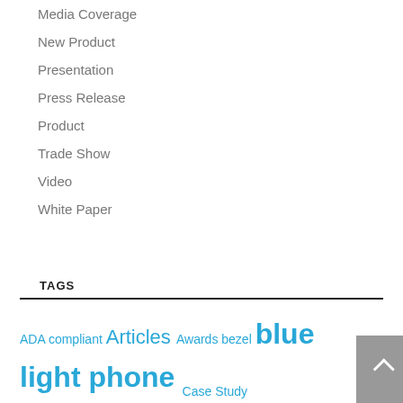Media Coverage
New Product
Presentation
Press Release
Product
Trade Show
Video
White Paper
TAGS
ADA compliant Articles Awards bezel blue light phone Case Study